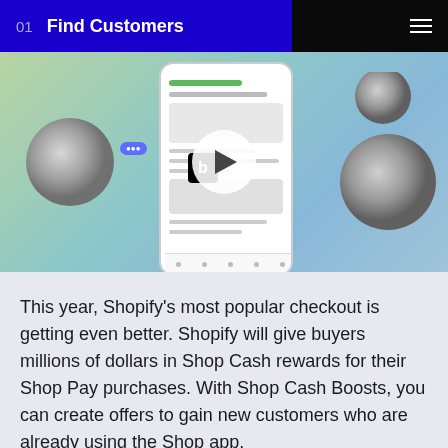01  Find Customers
[Figure (screenshot): Hero video thumbnail showing a smartphone with a shopping app interface, flanked by 3D rendered metallic coin/disc shapes, on a teal-green gradient background, with a white play button overlay and a black 'b' icon.]
This year, Shopify's most popular checkout is getting even better. Shopify will give buyers millions of dollars in Shop Cash rewards for their Shop Pay purchases. With Shop Cash Boosts, you can create offers to gain new customers who are already using the Shop app.